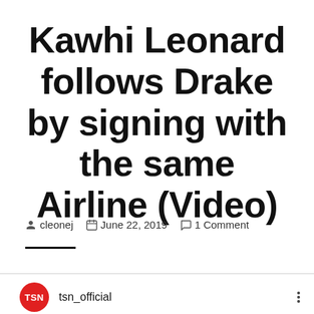Kawhi Leonard follows Drake by signing with the same Airline (Video)
cleonej   June 22, 2019   1 Comment
tsn_official